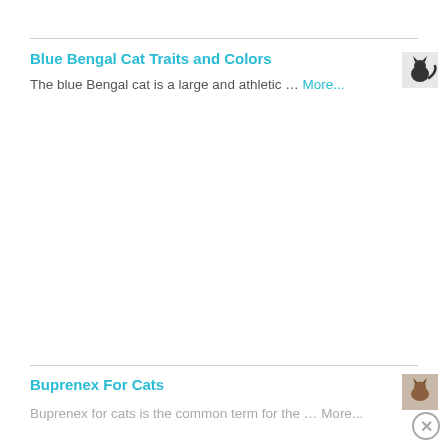Blue Bengal Cat Traits and Colors
The blue Bengal cat is a large and athletic … More...
[Figure (photo): Small thumbnail image of a cat silhouette]
Buprenex For Cats
Buprenex for cats is the common term for the … More...
[Figure (photo): Small thumbnail image related to Buprenex for Cats]